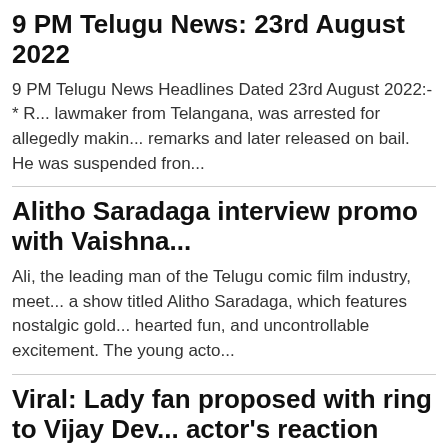9 PM Telugu News: 23rd August 2022
9 PM Telugu News Headlines Dated 23rd August 2022:-* R... lawmaker from Telangana, was arrested for allegedly makin... remarks and later released on bail. He was suspended fron...
Alitho Saradaga interview promo with Vaishna...
Ali, the leading man of the Telugu comic film industry, meet... a show titled Alitho Saradaga, which features nostalgic gold... hearted fun, and uncontrollable excitement. The young acto...
Viral: Lady fan proposed with ring to Vijay Dev... actor's reaction
One of actor Vijay Deverakonda's most anticipated movies,... release on August 25. Prior to its release, Vijay and his team...